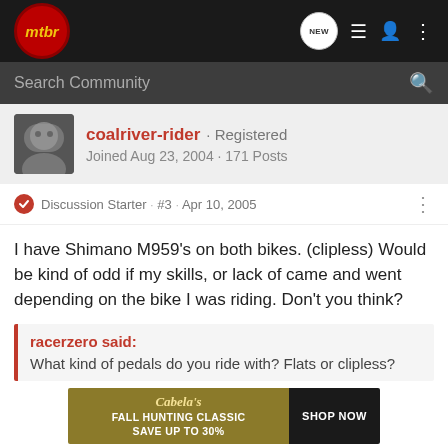mtbr
Search Community
coalriver-rider · Registered
Joined Aug 23, 2004 · 171 Posts
Discussion Starter · #3 · Apr 10, 2005
I have Shimano M959's on both bikes. (clipless) Would be kind of odd if my skills, or lack of came and went depending on the bike I was riding. Don't you think?
racerzero said:
What kind of pedals do you ride with? Flats or clipless?
[Figure (other): Cabela's Fall Hunting Classic advertisement banner. Text reads: FALL HUNTING CLASSIC SAVE UP TO 30% with SHOP NOW button.]